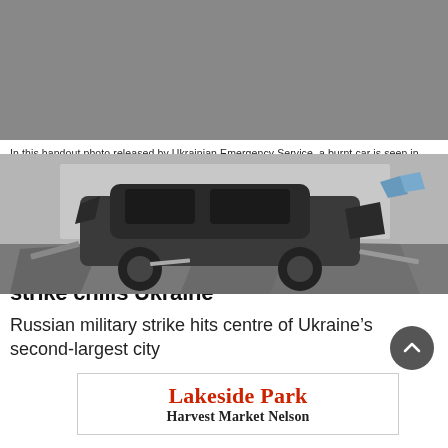[Figure (photo): A burnt car seen in front of a damaged building in Kharkiv, Ukraine. The vehicle is heavily destroyed with debris scattered around it.]
In this handout photo released by Ukrainian Emergency Service, a burnt car is seen in front of a damaged City Hall building, in Kharkiv, Ukraine, Tuesday, March 1, 2022. Russian shelling pounded civilian targets in Ukraine's second-largest city, Kharkiv, Tuesday and a 40-mile convoy of tanks and other vehicles threatened the capital - tactics Ukraine's embattled president said were designed to force him into concessions in Europe's largest ground war in generations. (Ukrainian Emergency Service via AP)
‘Undisguised terror’: Russia’s Kharkiv strike chills Ukraine
Russian military strike hits centre of Ukraine’s second-largest city
[Figure (other): Advertisement for Lakeside Park Harvest Market Nelson]